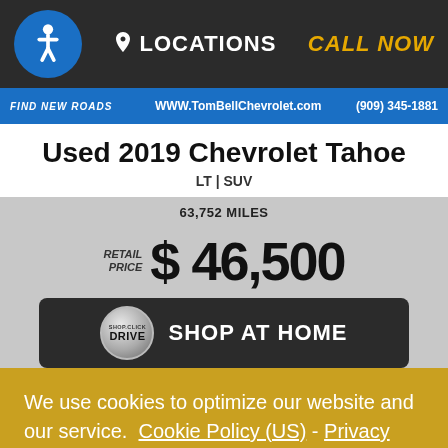LOCATIONS  CALL NOW
FIND NEW ROADS  WWW.TomBellChevrolet.com  (909) 345-1881
Used 2019 Chevrolet Tahoe
LT | SUV
63,752 MILES
RETAIL PRICE $ 46,500
SHOP AT HOME
We use cookies to optimize our website and our service. Cookie Policy (US) - Privacy statement
Accept